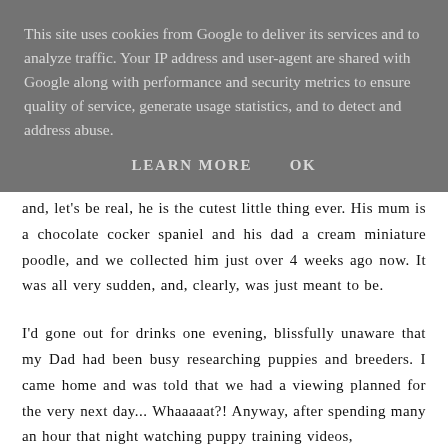This site uses cookies from Google to deliver its services and to analyze traffic. Your IP address and user-agent are shared with Google along with performance and security metrics to ensure quality of service, generate usage statistics, and to detect and address abuse.
LEARN MORE    OK
and, let's be real, he is the cutest little thing ever. His mum is a chocolate cocker spaniel and his dad a cream miniature poodle, and we collected him just over 4 weeks ago now. It was all very sudden, and, clearly, was just meant to be.
I'd gone out for drinks one evening, blissfully unaware that my Dad had been busy researching puppies and breeders. I came home and was told that we had a viewing planned for the very next day... Whaaaaat?! Anyway, after spending many an hour that night watching puppy training videos,